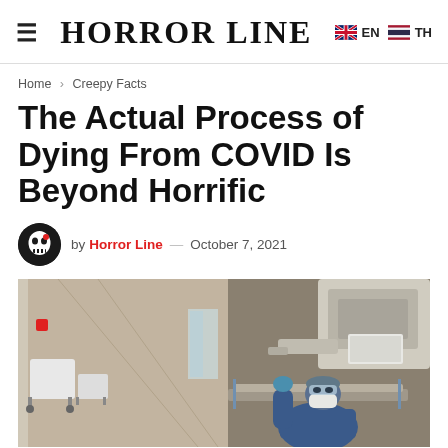HORROR LINE  EN  TH
Home > Creepy Facts
The Actual Process of Dying From COVID Is Beyond Horrific
by Horror Line — October 7, 2021
[Figure (photo): Hospital corridor with medical equipment on left side; on the right, a healthcare worker in full PPE (blue protective suit, mask, gloves, head cover) leaning on a hospital bed or gurney, looking upward at a medical device/machine above.]